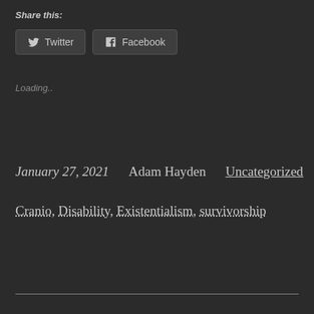Share this:
Twitter  Facebook
Loading..
January 27, 2021   Adam Hayden   Uncategorized
Cranio, Disability, Existentialism, survivorship